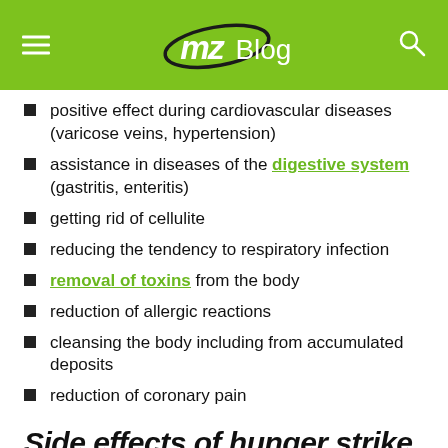mzBlog
positive effect during cardiovascular diseases (varicose veins, hypertension)
assistance in diseases of the digestive system (gastritis, enteritis)
getting rid of cellulite
reducing the tendency to respiratory infection
removal of toxins from the body
reduction of allergic reactions
cleansing the body including from accumulated deposits
reduction of coronary pain
Side effects of hunger strike
Impairment of functions and...